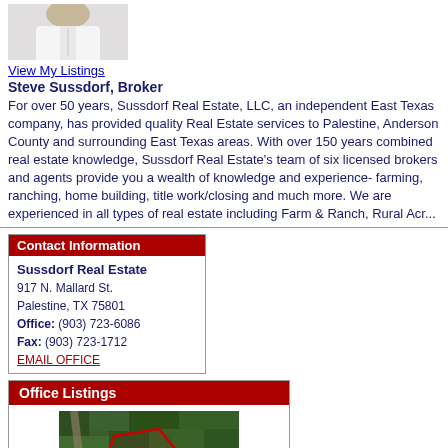[Figure (photo): Partial photo of a person in a white shirt, cropped to show torso/collar area]
View My Listings
Steve Sussdorf, Broker
For over 50 years, Sussdorf Real Estate, LLC, an independent East Texas company, has provided quality Real Estate services to Palestine, Anderson County and surrounding East Texas areas. With over 150 years combined real estate knowledge, Sussdorf Real Estate's team of six licensed brokers and agents provide you a wealth of knowledge and experience- farming, ranching, home building, title work/closing and much more. We are experienced in all types of real estate including Farm & Ranch, Rural Acr...
Contact Information
Sussdorf Real Estate
917 N. Mallard St.
Palestine, TX 75801
Office: (903) 723-6086
Fax: (903) 723-1712
EMAIL OFFICE
Office Listings
[Figure (photo): Aerial satellite view of a wooded property with a red polygon outline marking the parcel boundaries]
Click Photo to View